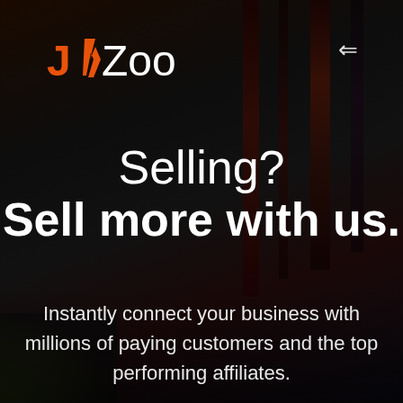[Figure (logo): JVZoo logo with orange/red lightning bolt V in the name, white text on dark background]
Selling?
Sell more with us.
Instantly connect your business with millions of paying customers and the top performing affiliates.